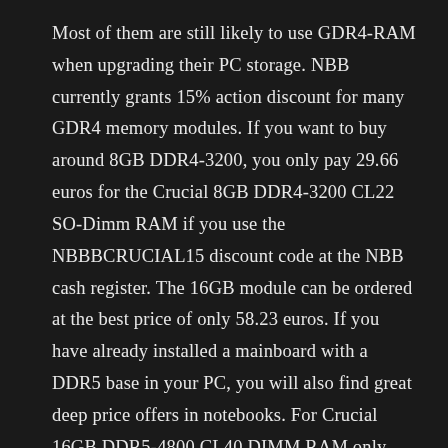Most of them are still likely to use GDR4-RAM when upgrading their PC storage. NBB currently grants 15% action discount for many GDR4 memory modules. If you want to buy around 8GB DDR4-3200, you only pay 29.66 euros for the Crucial 8GB DDR4-3200 CL22 SO-Dimm RAM if you use the NBBBCRUCIAL15 discount code at the NBB cash register. The 16GB module can be ordered at the best price of only 58.23 euros. If you have already installed a mainboard with a DDR5 base in your PC, you will also find great deep price offers in notebooks. For Crucial 16GB DDR5-4800 CL40 DIMM RAM only 114.67 euros. The 32GB module is currently nowhere to be bought cheaper with a price of 180.19 euros. However, the discount offers for RAM as part of the Crucial Dram Days at NBB only apply until May 27th.